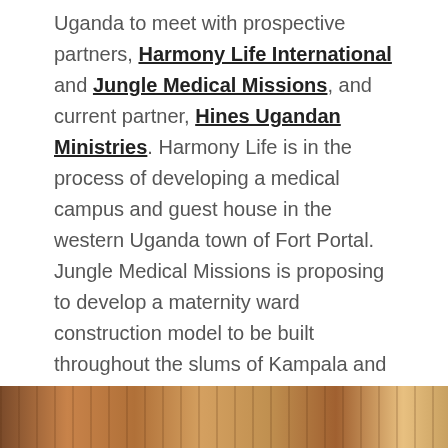Uganda to meet with prospective partners, Harmony Life International and Jungle Medical Missions, and current partner, Hines Ugandan Ministries. Harmony Life is in the process of developing a medical campus and guest house in the western Uganda town of Fort Portal. Jungle Medical Missions is proposing to develop a maternity ward construction model to be built throughout the slums of Kampala and rural areas across Uganda to combat one of the highest rates of maternal mortality rates in the world due to lack of birthing centers. The trip was an overall success and has laid the groundwork for years of new and continued partnerships in East Africa.
[Figure (photo): Bottom strip of a photo showing a wooden surface with warm brown tones, partially visible.]